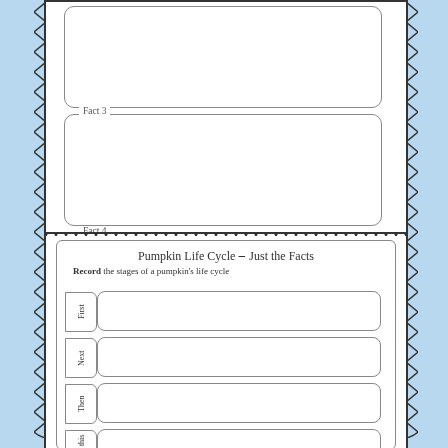Fact 3
Fact 4
Pumpkin Life Cycle - Just the Facts
Record the stages of a pumpkin's life cycle
First
Next
Then
After this